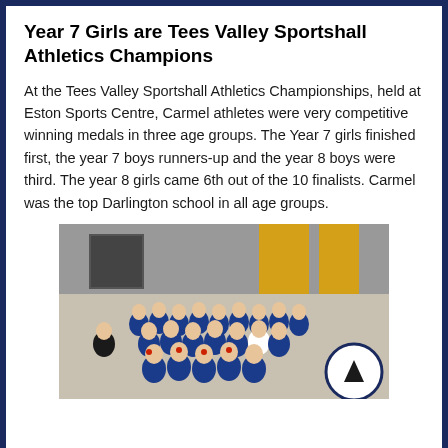Year 7 Girls are Tees Valley Sportshall Athletics Champions
At the Tees Valley Sportshall Athletics Championships, held at Eston Sports Centre, Carmel athletes were very competitive winning medals in three age groups. The Year 7 girls finished first, the year 7 boys runners-up and the year 8 boys were third. The year 8 girls came 6th out of the 10 finalists. Carmel was the top Darlington school in all age groups.
[Figure (photo): Group photo of student athletes wearing blue uniforms inside a sports hall with yellow and grey walls, many wearing medals.]